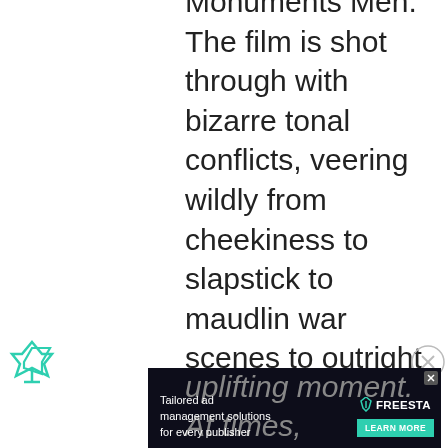Monuments Men. The film is shot through with bizarre tonal conflicts, veering wildly from cheekiness to slapstick to maudlin war scenes to outright preaching on the benefits of fine art, and everything's stapled together with a bouncy score from Alexandre Desplat that almost seems to parody those from war movies from the mid-20th
[Figure (other): Advertisement banner for Freesta tailored ad management solutions. Black background with illustrated figures, green check icons, and a 'LEARN MORE' button.]
uplifting moment. At times,